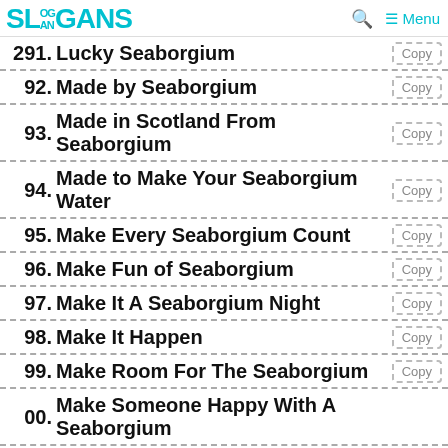SLOGANS
291. Lucky Seaborgium
292. Made by Seaborgium
293. Made in Scotland From Seaborgium
294. Made to Make Your Seaborgium Water
295. Make Every Seaborgium Count
296. Make Fun of Seaborgium
297. Make It A Seaborgium Night
298. Make It Happen
299. Make Room For The Seaborgium
300. Make Someone Happy With A Seaborgium